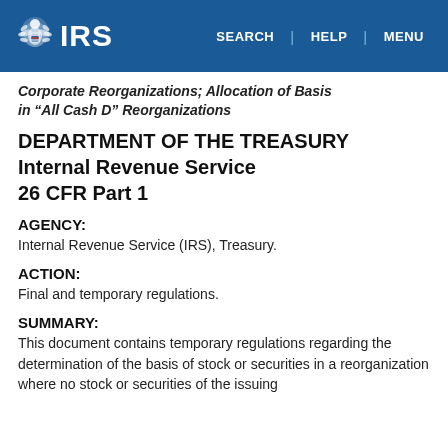IRS | SEARCH | HELP | MENU
Corporate Reorganizations; Allocation of Basis in “All Cash D” Reorganizations
DEPARTMENT OF THE TREASURY
Internal Revenue Service
26 CFR Part 1
AGENCY:
Internal Revenue Service (IRS), Treasury.
ACTION:
Final and temporary regulations.
SUMMARY:
This document contains temporary regulations regarding the determination of the basis of stock or securities in a reorganization where no stock or securities of the issuing...